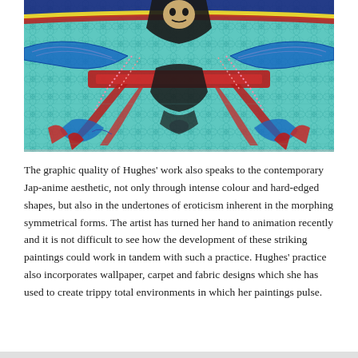[Figure (illustration): A colourful artwork by Hughes featuring a symmetrical, kaleidoscopic composition with teal/turquoise patterned background covered in flower-of-life geometric motifs, with bold red, blue, black and gold figurative elements in the centre forming a mirrored, insect-like or mythological creature form.]
The graphic quality of Hughes' work also speaks to the contemporary Jap-anime aesthetic, not only through intense colour and hard-edged shapes, but also in the undertones of eroticism inherent in the morphing symmetrical forms. The artist has turned her hand to animation recently and it is not difficult to see how the development of these striking paintings could work in tandem with such a practice. Hughes' practice also incorporates wallpaper, carpet and fabric designs which she has used to create trippy total environments in which her paintings pulse.